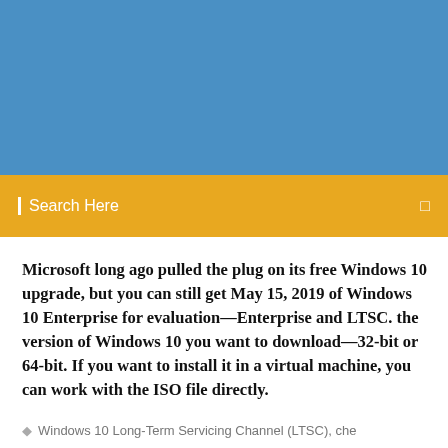[Figure (other): Blue banner/header background image area]
Search Here
Microsoft long ago pulled the plug on its free Windows 10 upgrade, but you can still get May 15, 2019 of Windows 10 Enterprise for evaluation—Enterprise and LTSC. the version of Windows 10 you want to download—32-bit or 64-bit. If you want to install it in a virtual machine, you can work with the ISO file directly.
Windows 10 Long-Term Servicing Channel (LTSC), che